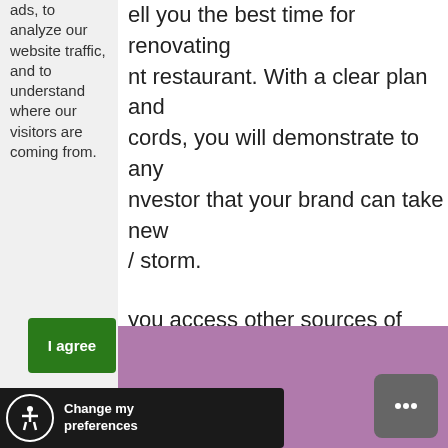ads, to analyze our website traffic, and to understand where our visitors are coming from.
...tell you the best time for renovating ...nt restaurant. With a clear plan and ...cords, you will demonstrate to any ...nvestor that your brand can take new .../ storm.
...you access other sources of capital with ...e. Business forecasting is an excellent ...o you draw the growth strategy for your ...
[Figure (other): Green 'I agree' cookie consent button]
[Figure (other): Accessibility icon with 'Change my preferences' dark bar at bottom left]
[Figure (other): Purple/mauve background section at bottom right of page]
[Figure (other): Chat bubble icon button at bottom right]